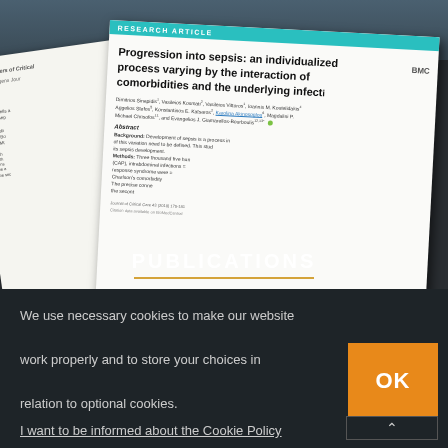[Figure (screenshot): Screenshot of a medical research website showing stacked academic paper documents in background, with PUBLICATIONS overlay text and View More link]
PUBLICATIONS
View More
We use necessary cookies to make our website work properly and to store your choices in relation to optional cookies.
I want to be informed about the Cookie Policy